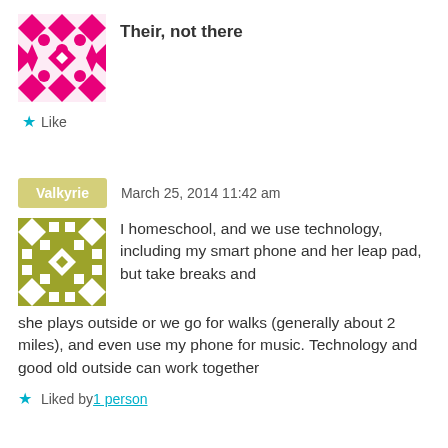[Figure (illustration): Pink geometric/mosaic square avatar icon for user 'Their, not there']
Their, not there
★ Like
Valkyrie   March 25, 2014 11:42 am
[Figure (illustration): Olive/yellow-green geometric/mosaic square avatar icon for user Valkyrie]
I homeschool, and we use technology, including my smart phone and her leap pad, but take breaks and she plays outside or we go for walks (generally about 2 miles), and even use my phone for music. Technology and good old outside can work together
★ Liked by 1 person